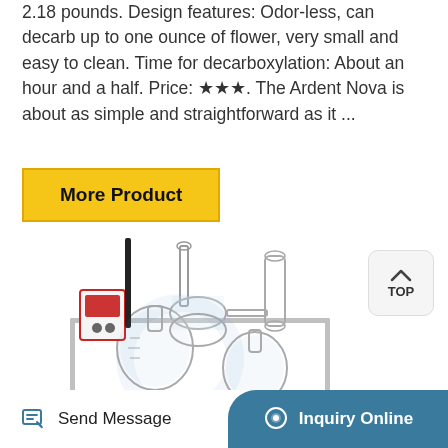2.18 pounds. Design features: Odor-less, can decarb up to one ounce of flower, very small and easy to clean. Time for decarboxylation: About an hour and a half. Price: ★★★. The Ardent Nova is about as simple and straightforward as it ...
[Figure (other): Button labeled 'More Product' with yellow/gold background and dark border]
[Figure (photo): Laboratory glassware apparatus with metal frame, round-bottom flasks, condenser, and control panel — likely a distillation or extraction setup]
[Figure (other): Page footer with two buttons: 'Send Message' on the left with an edit/message icon, and 'Inquiry Online' on the right with a chat bubble icon on a teal/steel blue rounded background]